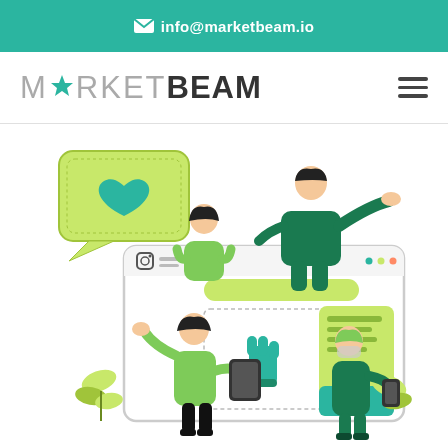info@marketbeam.io
[Figure (logo): MarketBeam logo with teal star replacing letter A]
[Figure (illustration): Social media marketing illustration with green characters interacting with a large social media post interface showing a thumbs-up icon, a speech bubble with a heart, and people using tablets and phones]